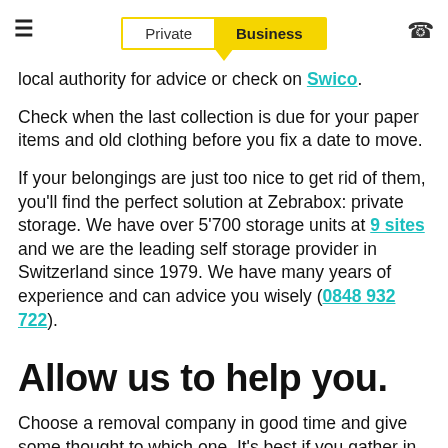Private | Business
local authority for advice or check on Swico.
Check when the last collection is due for your paper items and old clothing before you fix a date to move.
If your belongings are just too nice to get rid of them, you'll find the perfect solution at Zebrabox: private storage. We have over 5'700 storage units at 9 sites and we are the leading self storage provider in Switzerland since 1979. We have many years of experience and can advice you wisely (0848 932 722).
Allow us to help you.
Choose a removal company in good time and give some thought to which one. It's best if you gather in a few quotes and then weigh them up. Just remember: